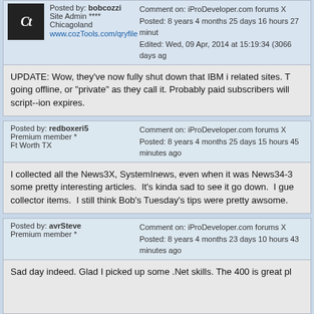Posted by: bobcozzi | Site Admin **** | Chicagoland | www.cozTools.com/qryfile
Comment on: iProDeveloper.com forums X
Posted: 8 years 4 months 25 days 16 hours 27 minutes ago
Edited: Wed, 09 Apr, 2014 at 15:19:34 (3066 days ago)
UPDATE: Wow, they've now fully shut down that IBM i related sites. T going offline, or "private" as they call it. Probably paid subscribers will script--ion expires.
Posted by: redboxeri5 | Premium member * | Ft Worth TX
Comment on: iProDeveloper.com forums X
Posted: 8 years 4 months 25 days 15 hours 45 minutes ago
I collected all the News3X, SystemInews, even when it was News34-3 some pretty interesting articles. It's kinda sad to see it go down. I gue collector items. I still think Bob's Tuesday's tips were pretty awsome.
Posted by: avrSteve | Premium member *
Comment on: iProDeveloper.com forums X
Posted: 8 years 4 months 23 days 10 hours 43 minutes ago
Sad day indeed. Glad I picked up some .Net skills. The 400 is great pl
Posted by: clbirk | Premium member *
Comment on: iProDeveloper.com forums X
Posted: 8 years 4 months 22 days 16 hours 28 minutes ago